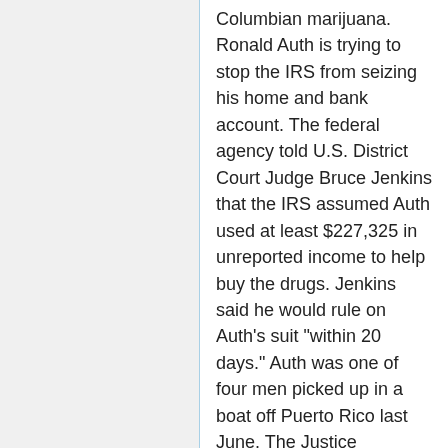Columbian marijuana. Ronald Auth is trying to stop the IRS from seizing his home and bank account. The federal agency told U.S. District Court Judge Bruce Jenkins that the IRS assumed Auth used at least $227,325 in unreported income to help buy the drugs. Jenkins said he would rule on Auth's suit "within 20 days." Auth was one of four men picked up in a boat off Puerto Rico last June. The Justice Department said the men used $1.3 million to purchase marijuana in Columbia. But Assistant U.S. Attorney Wallace Boyack said, if the drugs had been sold in the